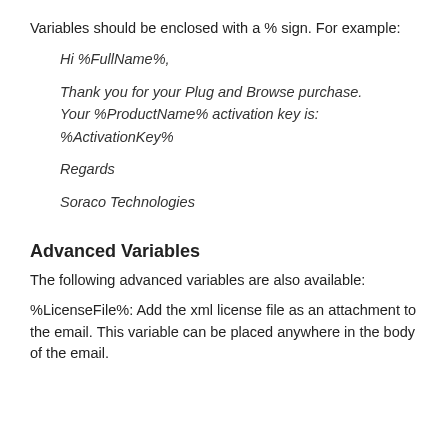Variables should be enclosed with a % sign. For example:
Hi %FullName%,

Thank you for your Plug and Browse purchase.
Your %ProductName% activation key is:
%ActivationKey%

Regards

Soraco Technologies
Advanced Variables
The following advanced variables are also available:
%LicenseFile%: Add the xml license file as an attachment to the email. This variable can be placed anywhere in the body of the email.